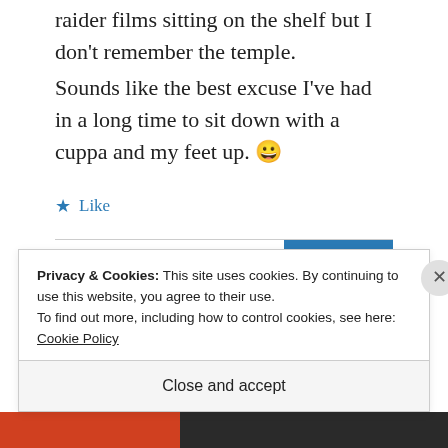And as for Lara Croft, I have two tomb raider films sitting on the shelf but I don't remember the temple.
Sounds like the best excuse I've had in a long time to sit down with a cuppa and my feet up. 😀
★ Like
REPLY
Privacy & Cookies: This site uses cookies. By continuing to use this website, you agree to their use.
To find out more, including how to control cookies, see here: Cookie Policy
Close and accept